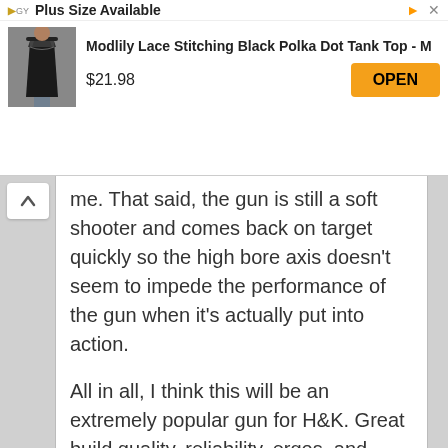[Figure (screenshot): Advertisement banner for Modlily clothing. Top bar shows 'Plus Size Available' with arrow icon and close button. Product shows 'Modlily Lace Stitching Black Polka Dot Tank Top - M' priced at $21.98 with an orange OPEN button.]
me. That said, the gun is still a soft shooter and comes back on target quickly so the high bore axis doesn’t seem to impede the performance of the gun when it’s actually put into action.
All in all, I think this will be an extremely popular gun for H&K. Great build quality, reliability, ergos, and finish combined with H&K’s reputation and a MSRP of only $719 will be hard to resist for a lot of prospective gun buyers out there.
Minor Regrets